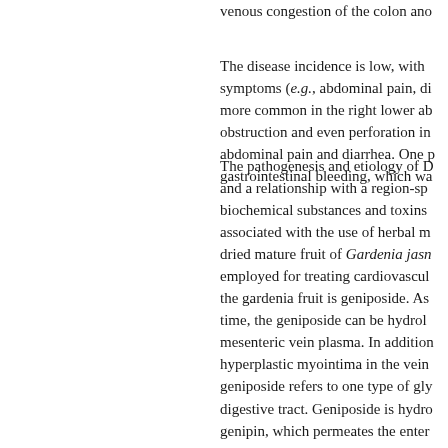venous congestion of the colon and...
The disease incidence is low, with symptoms (e.g., abdominal pain, di... more common in the right lower ab... obstruction and even perforation in... abdominal pain and diarrhea. One p... gastrointestinal bleeding, which wa...
The pathogenesis and etiology of D... and a relationship with a region-sp... biochemical substances and toxins... associated with the use of herbal m... dried mature fruit of Gardenia jasm... employed for treating cardiovascul... the gardenia fruit is geniposide. As... time, the geniposide can be hydrol... mesenteric vein plasma. In addition... hyperplastic myointima in the vein... geniposide refers to one type of gly... digestive tract. Geniposide is hydro... genipin, which permeates the enter... absorption processes have been lar... site of mesenteric venous sclerosis...